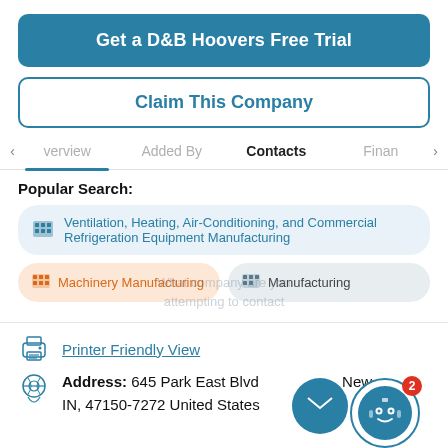Get a D&B Hoovers Free Trial
Claim This Company
Overview | Added By | Contacts | Financ>
Popular Search:
Ventilation, Heating, Air-Conditioning, and Commercial Refrigeration Equipment Manufacturing
Machinery Manufacturing
Manufacturing
Printer Friendly View
Address: 645 Park East Blvd, New Albany, IN, 47150-7272 United States